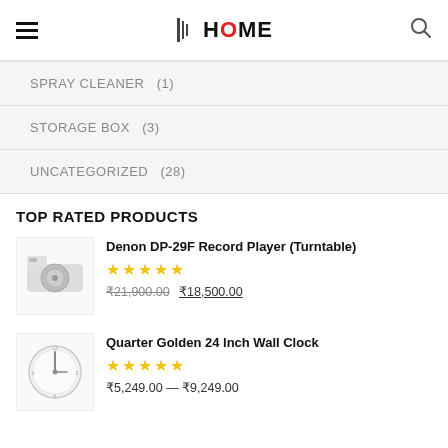ALL HOME — navigation header with hamburger menu, logo, and search icon
SPRAY CLEANER  (1)
STORAGE BOX  (3)
UNCATEGORIZED  (28)
TOP RATED PRODUCTS
Denon DP-29F Record Player (Turntable) ★★★★★ ₹21,900.00  ₹18,500.00
Quarter Golden 24 Inch Wall Clock ★★★★★ ₹5,249.00 — ₹9,249.00